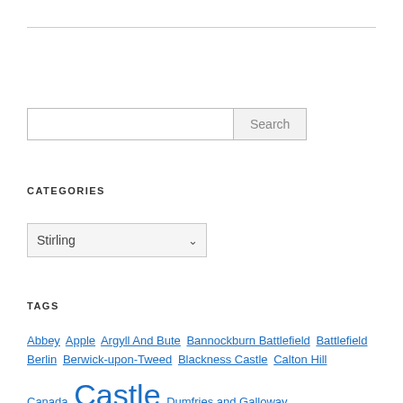[Figure (screenshot): Horizontal rule separator at top of page]
[Figure (screenshot): Search input field with Search button]
CATEGORIES
[Figure (screenshot): Dropdown select box showing Stirling]
TAGS
Abbey Apple Argyll And Bute Bannockburn Battlefield Battlefield Berlin Berwick-upon-Tweed Blackness Castle Calton Hill Canada Castle Dumfries and Galloway Edinburgh Edinburgh Castle England Falkirk Fife Germany